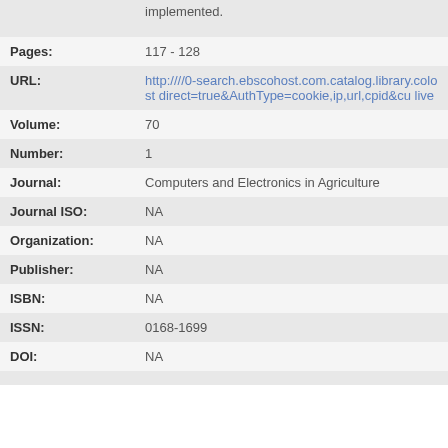| Field | Value |
| --- | --- |
|  | implemented. |
| Pages: | 117 - 128 |
| URL: | http:////0-search.ebscohost.com.catalog.library.colost direct=true&AuthType=cookie,ip,url,cpid&cu live |
| Volume: | 70 |
| Number: | 1 |
| Journal: | Computers and Electronics in Agriculture |
| Journal ISO: | NA |
| Organization: | NA |
| Publisher: | NA |
| ISBN: | NA |
| ISSN: | 0168-1699 |
| DOI: | NA |